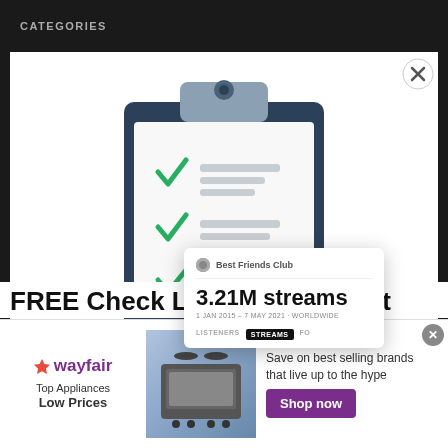CATEGORIES
[Figure (illustration): Illustration of a clipboard with a checklist showing three green checkmarks next to grey placeholder lines, overlaid with a Spotify stats card showing '3.21M streams' for Best Friends Club]
Best Friends Club
3.21M streams
1 JAN 2015 - 7 MAY 2021 · WORLDWIDE
LISTENERS    STREAMS    FO
FREE Check List I Used To Get
[Figure (infographic): Wayfair advertisement banner: Wayfair logo on left, 'Top Appliances Low Prices' text, image of kitchen appliance in center, 'Save on best selling brands that live up to the hype' text and purple 'Shop now' button on right]